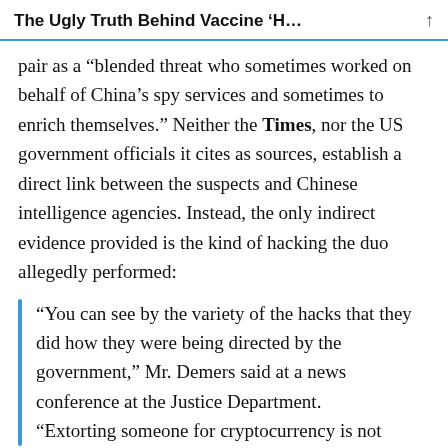The Ugly Truth Behind Vaccine ‘H…
pair as a “blended threat who sometimes worked on behalf of China’s spy services and sometimes to enrich themselves.” Neither the Times, nor the US government officials it cites as sources, establish a direct link between the suspects and Chinese intelligence agencies. Instead, the only indirect evidence provided is the kind of hacking the duo allegedly performed:
“You can see by the variety of the hacks that they did how they were being directed by the government,” Mr. Demers said at a news conference at the Justice Department. “Extorting someone for cryptocurrency is not